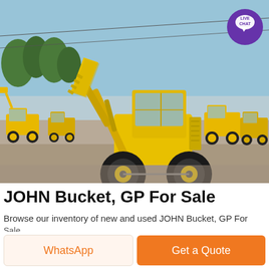[Figure (photo): A yellow front-end wheel loader (bucket loader) in a yard full of similar yellow construction machinery. The loader is positioned center-forward with its bucket raised. Many other yellow loaders are visible in the background. A 'LIVE CHAT' purple speech bubble badge appears in the top-right corner of the image.]
JOHN Bucket, GP For Sale
Browse our inventory of new and used JOHN Bucket, GP For Sale...